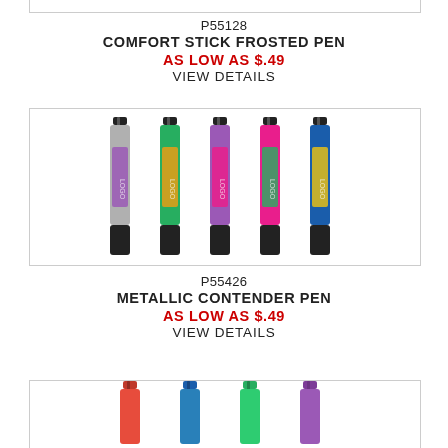[Figure (photo): Partial view of top product image box (clipped at top of page)]
P55128
COMFORT STICK FROSTED PEN
AS LOW AS $.49
VIEW DETAILS
[Figure (photo): Five metallic contender pens in silver/gray, purple, green, pink/magenta, and blue colors with black accents and printed logos]
P55426
METALLIC CONTENDER PEN
AS LOW AS $.49
VIEW DETAILS
[Figure (photo): Partial bottom image showing tops of pens in red, blue, green, and purple colors]